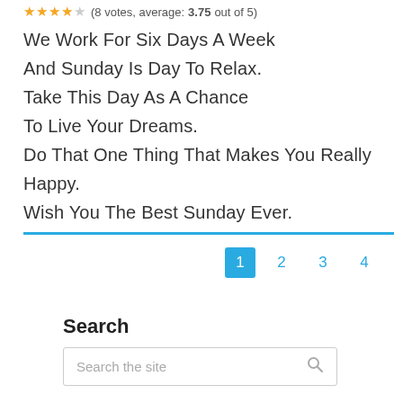(8 votes, average: 3.75 out of 5)
We Work For Six Days A Week
And Sunday Is Day To Relax.
Take This Day As A Chance
To Live Your Dreams.
Do That One Thing That Makes You Really Happy.
Wish You The Best Sunday Ever.
1  2  3  4
Search
Search the site